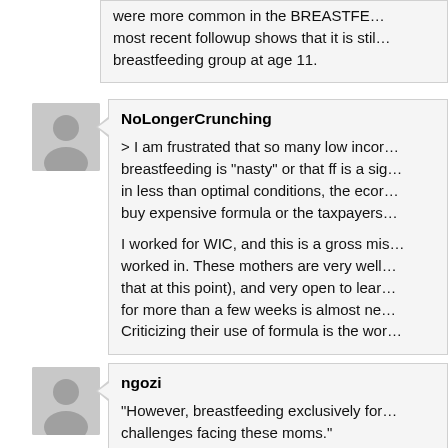were more common in the BREASTFE... most recent followup shows that it is stil... breastfeeding group at age 11.
NoLongerCrunching
> I am frustrated that so many low incor... breastfeeding is "nasty" or that ff is a sig... in less than optimal conditions, the ecor... buy expensive formula or the taxpayers...
I worked for WIC, and this is a gross mis... worked in. These mothers are very well... that at this point), and very open to lear... for more than a few weeks is almost ne... Criticizing their use of formula is the wor...
ngozi
“However, breastfeeding exclusively for... challenges facing these moms.”